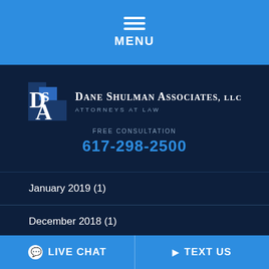MENU
[Figure (logo): Dane Shulman Associates, LLC - Attorneys at Law logo with DSA initials on dark blue background]
FREE CONSULTATION
617-298-2500
January 2019 (1)
December 2018 (1)
October 2018 (1)
LIVE CHAT   TEXT US